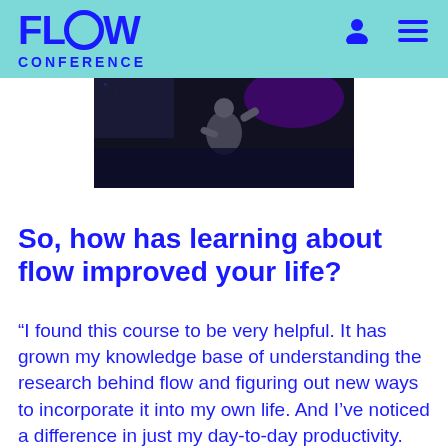FLOW CONFERENCE
[Figure (photo): A speaker on stage at a conference, dark background with stage lighting, person wearing dark t-shirt]
So, how has learning about flow improved your life?
“I found this course to be very helpful. It has grown my knowledge base of understanding the research behind flow and figuring out new ways to incorporate it into my own life. And I’ve noticed a difference in just my day-to-day productivity. Being able to sit down at a computer and tap into some of these principles. I’ve noticed alot of differences.